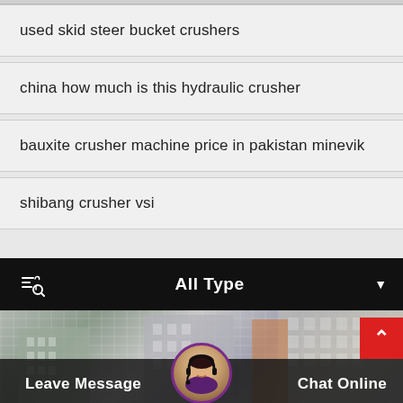used skid steer bucket crushers
china how much is this hydraulic crusher
bauxite crusher machine price in pakistan minevik
shibang crusher vsi
All Type
[Figure (screenshot): Bottom section showing a building background with Leave Message and Chat Online bar, avatar of a customer service agent, and a red back-to-top button.]